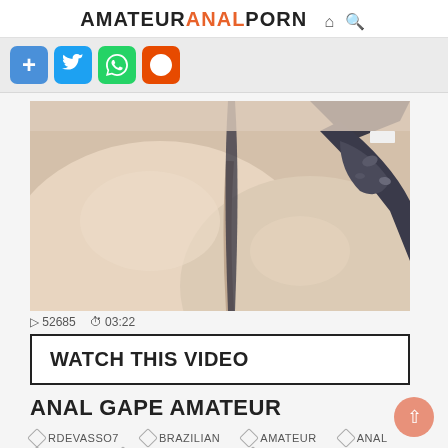AMATEURANALPORN
[Figure (screenshot): Website social share buttons: add/plus (blue), Twitter (blue), WhatsApp (green), Reddit (orange-red)]
[Figure (photo): Video thumbnail showing close-up of a person wearing a black thong/swimsuit bottom from behind]
▷ 52685 ⏱ 03:22
WATCH THIS VIDEO
ANAL GAPE AMATEUR
RDEVASSO7
BRAZILIAN
AMATEUR
ANAL
GAPING
AMATEUR ANAL
AMATEUR ANAL GAPE